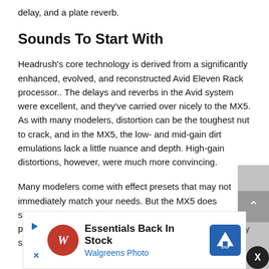delay, and a plate reverb.
Sounds To Start With
Headrush’s core technology is derived from a significantly enhanced, evolved, and reconstructed Avid Eleven Rack processor.. The delays and reverbs in the Avid system were excellent, and they’ve carried over nicely to the MX5. As with many modelers, distortion can be the toughest nut to crack, and in the MX5, the low- and mid-gain dirt emulations lack a little nuance and depth. High-gain distortions, however, were much more convincing.
Many modelers come with effect presets that may not immediately match your needs. But the MX5 does something that I haven’t seen before: It loads up several presets for each effect. So, when I dropped a reverb in my sig... edit specif... that